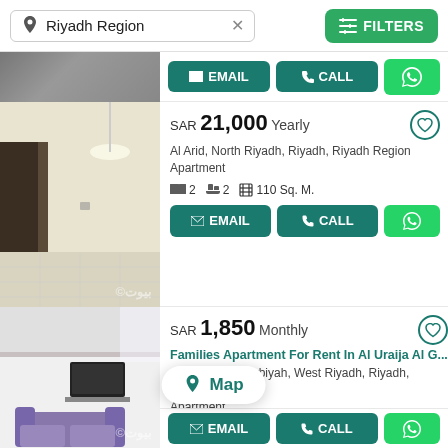[Figure (screenshot): Real estate listing app screenshot showing search bar with 'Riyadh Region' filter, FILTERS button, and two property listings with images, prices, addresses, and contact buttons (EMAIL, CALL, WhatsApp). A Map button overlay is visible at the bottom.]
Riyadh Region
FILTERS
SAR 21,000 Yearly
Al Arid, North Riyadh, Riyadh, Riyadh Region
Apartment
2  2  110 Sq. M.
SAR 1,850 Monthly
Families Apartment For Rent In Al Uraija Al G...
Al Uraija Al Gharbiyah, West Riyadh, Riyadh, Riyad...
Apartment
20 Sq. M.
Map